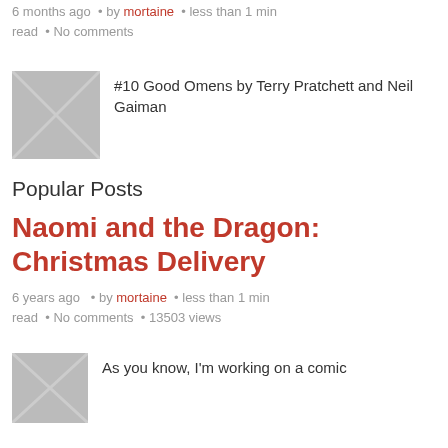6 months ago • by mortaine • less than 1 min read • No comments
[Figure (illustration): Placeholder image with X cross pattern for Good Omens book entry]
#10 Good Omens by Terry Pratchett and Neil Gaiman
Popular Posts
Naomi and the Dragon: Christmas Delivery
6 years ago • by mortaine • less than 1 min read • No comments • 13503 views
[Figure (illustration): Placeholder image with envelope/X pattern for comic post]
As you know, I'm working on a comic